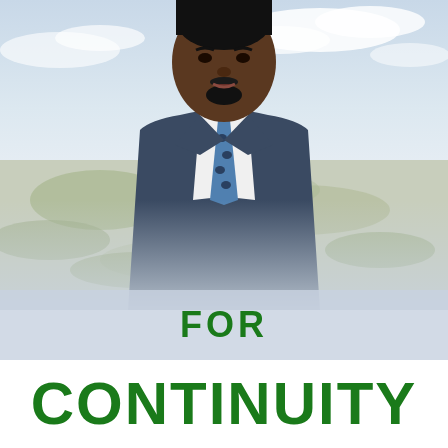[Figure (photo): A Black man in a dark navy/grey suit with white shirt and blue patterned tie, photographed from chest up against a backdrop of an aerial landscape view with sky and clouds.]
FOR
CONTINUITY